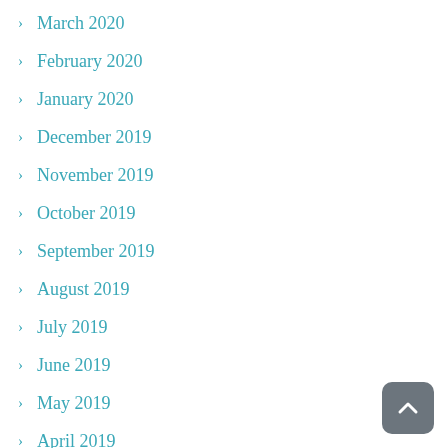March 2020
February 2020
January 2020
December 2019
November 2019
October 2019
September 2019
August 2019
July 2019
June 2019
May 2019
April 2019
March 2019
February 2019
January 2019
December 2018
November 2018
October 2018
September 2018
August 2018
July 2018
June 2018
May 2018